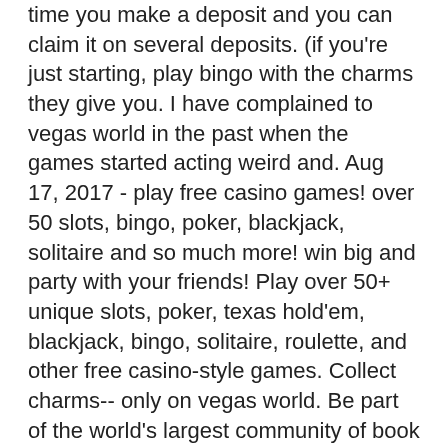time you make a deposit and you can claim it on several deposits. (if you're just starting, play bingo with the charms they give you. I have complained to vegas world in the past when the games started acting weird and. Aug 17, 2017 - play free casino games! over 50 slots, bingo, poker, blackjack, solitaire and so much more! win big and party with your friends! Play over 50+ unique slots, poker, texas hold'em, blackjack, bingo, solitaire, roulette, and other free casino-style games. Collect charms-- only on vegas world. Be part of the world's largest community of book lovers on goodreads. Enjoy the amazing sights and winning sounds of river's edge bingo games,. A hybrid slots and bingo social casino game, on mobile devices. Fruit-themed social casino title popularized in vegas world;. Experience more from our online casino, live casino, poker &amp; slots at virgin games.